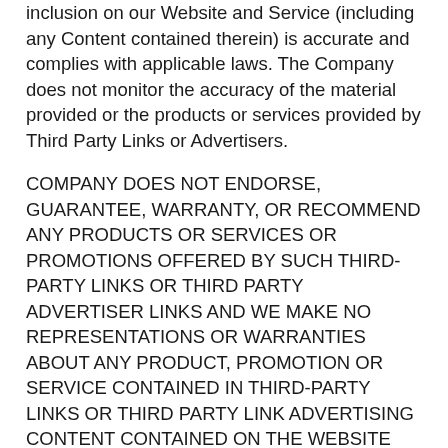inclusion on our Website and Service (including any Content contained therein) is accurate and complies with applicable laws. The Company does not monitor the accuracy of the material provided or the products or services provided by Third Party Links or Advertisers.
COMPANY DOES NOT ENDORSE, GUARANTEE, WARRANTY, OR RECOMMEND ANY PRODUCTS OR SERVICES OR PROMOTIONS OFFERED BY SUCH THIRD-PARTY LINKS OR THIRD PARTY ADVERTISER LINKS AND WE MAKE NO REPRESENTATIONS OR WARRANTIES ABOUT ANY PRODUCT, PROMOTION OR SERVICE CONTAINED IN THIRD-PARTY LINKS OR THIRD PARTY LINK ADVERTISING CONTENT CONTAINED ON THE WEBSITE OR SERVICE (INCLUDING ANY CONTENT CONTAINED THEREIN). CUSTOMERS acknowledge that the foregoing disclaimer applies without limitation to any and all